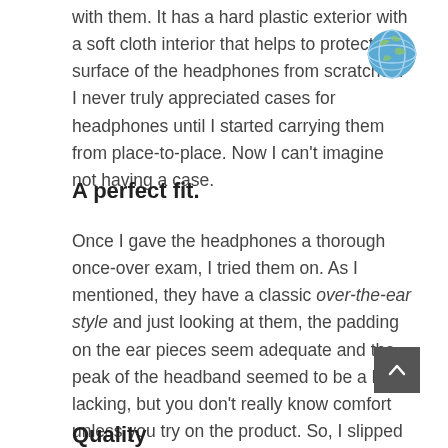with them. It has a hard plastic exterior with a soft cloth interior that helps to protect the surface of the headphones from scratches. I never truly appreciated cases for headphones until I started carrying them from place-to-place. Now I can't imagine not having a case.
[Figure (illustration): Globe emoji icon in blue]
A perfect fit.
Once I gave the headphones a thorough once-over exam, I tried them on. As I mentioned, they have a classic over-the-ear style and just looking at them, the padding on the ear pieces seem adequate and the peak of the headband seemed to be a bit lacking, but you don't really know comfort unless you try on the product. So, I slipped the headphones on and found them to be exquisitely comfortable.
[Figure (illustration): Scroll to top button - dark grey square with upward chevron]
Quality